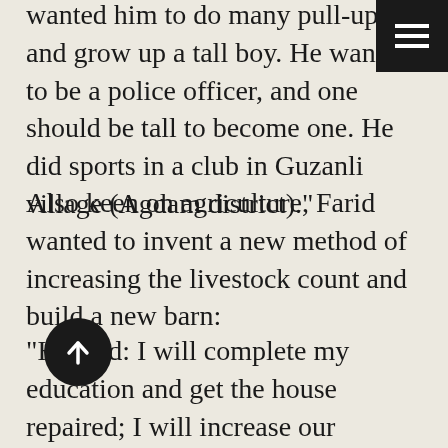wanted him to do many pull-ups and grow up a tall boy. He wanted to be a police officer, and one should be tall to become one. He did sports in a club in Guzanli village (Agdam district)."
Also keen on agriculture, Farid wanted to invent a new method of increasing the livestock count and build a new barn:
"He said: I will complete my education and get the house repaired; I will increase our livestock and build a large barn. I saw he was keen in that. Although the youngest kid around, he was not at all spoiled. Whatever I as a senior, told him, he always